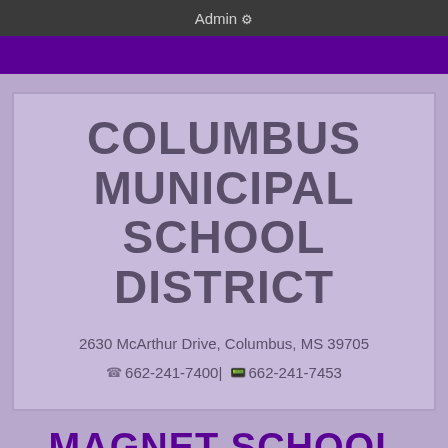Admin ⚙
COLUMBUS MUNICIPAL SCHOOL DISTRICT
2630 McArthur Drive, Columbus, MS 39705
☎662-241-7400| 📠662-241-7453
MAGNET SCHOOL CHOICE